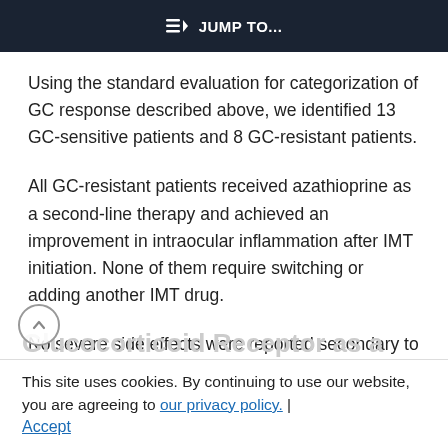⇒D JUMP TO...
Using the standard evaluation for categorization of GC response described above, we identified 13 GC-sensitive patients and 8 GC-resistant patients.
All GC-resistant patients received azathioprine as a second-line therapy and achieved an improvement in intraocular inflammation after IMT initiation. None of them require switching or adding another IMT drug.
No severe side effects were reported secondary to
This site uses cookies. By continuing to use our website, you are agreeing to our privacy policy. | Accept
Glucocorticoid Receptor as a Potential Biomarker of